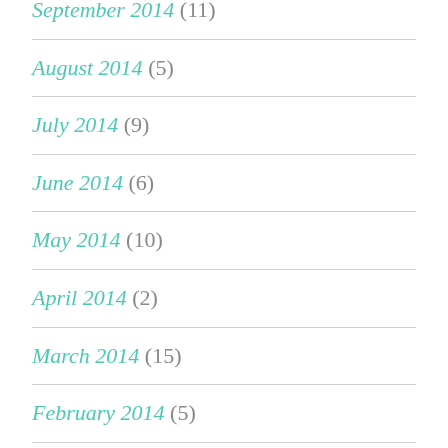September 2014 (11)
August 2014 (5)
July 2014 (9)
June 2014 (6)
May 2014 (10)
April 2014 (2)
March 2014 (15)
February 2014 (5)
January 2014 (1)